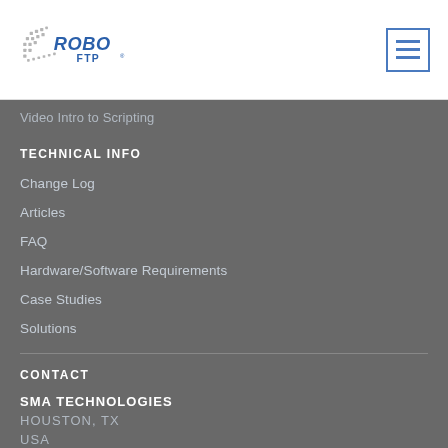[Figure (logo): Robo FTP logo with stylized dots/squares and blue text]
Video Intro to Scripting
TECHNICAL INFO
Change Log
Articles
FAQ
Hardware/Software Requirements
Case Studies
Solutions
CONTACT
SMA TECHNOLOGIES
HOUSTON, TX
USA